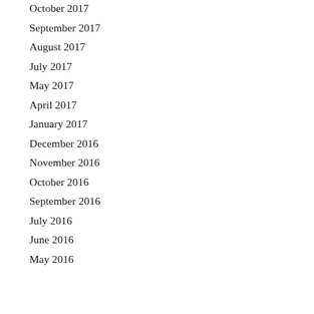October 2017
September 2017
August 2017
July 2017
May 2017
April 2017
January 2017
December 2016
November 2016
October 2016
September 2016
July 2016
June 2016
May 2016